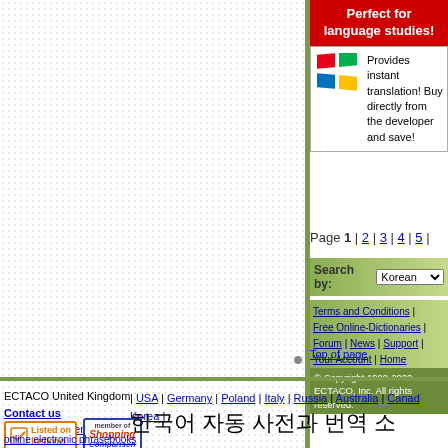[Figure (screenshot): Red banner reading 'Perfect for language studies!' with Windows logo and text 'Provides instant translation! Buy directly from the developer and save!']
Page 1 | 2 | 3 | 4 | 5 |
Search by: Korean
Terms and Conditions | Free Online-Dictionaries | Forum | News | Support | Your Account | Home
Top of page
© Copyright 1990-2022 ECTACO, Inc. All rights reserved.
ECTACO United Kingdom
Contact us
ECTACO Trademarks
| USA | Germany | Poland | Italy | Russia | Australia | Canada Korea |
한국어 자동 사전과 번역 소
online electronic phrasebooks
online flashcard learning system
online english thesaurus